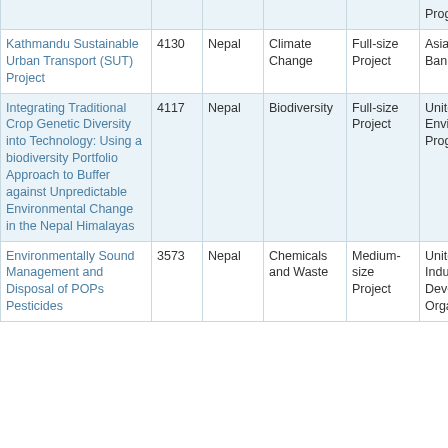| Project Name | ID | Country | Focal Area | Project Type | Agency |
| --- | --- | --- | --- | --- | --- |
| (partial top row - agency column) |  |  |  |  | Program |
| Kathmandu Sustainable Urban Transport (SUT) Project | 4130 | Nepal | Climate Change | Full-size Project | Asian Development Bank |
| Integrating Traditional Crop Genetic Diversity into Technology: Using a biodiversity Portfolio Approach to Buffer against Unpredictable Environmental Change in the Nepal Himalayas | 4117 | Nepal | Biodiversity | Full-size Project | United Nations Environment Program |
| Environmentally Sound Management and Disposal of POPs Pesticides | 3573 | Nepal | Chemicals and Waste | Medium-size Project | United Nations Industrial Development Organiz |